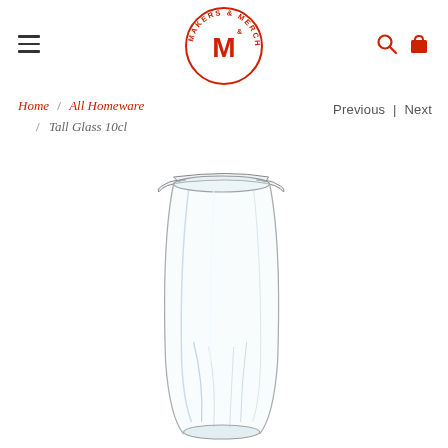Makers & Merchants — navigation header with hamburger menu, logo, search and cart icons
Home / All Homeware / Tall Glass 10cl
Previous | Next
[Figure (photo): A clear tall glass (10cl) photographed on a white background, showing the cylindrical tapered shape with a wide rim and faceted lower section.]